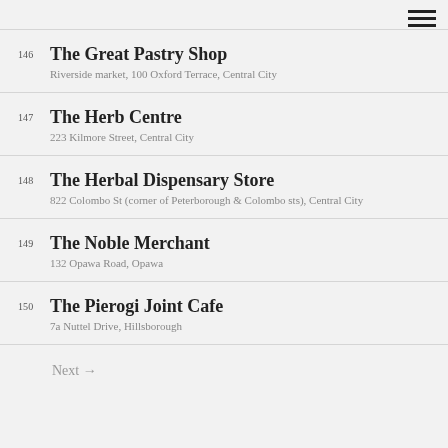146 The Great Pastry Shop
Riverside market, 100 Oxford Terrace, Central City
147 The Herb Centre
223 Kilmore Street, Central City
148 The Herbal Dispensary Store
822 Colombo St (corner of Peterborough & Colombo sts), Central City
149 The Noble Merchant
132 Opawa Road, Opawa
150 The Pierogi Joint Cafe
7a Nuttel Drive, Hillsborough
Next →